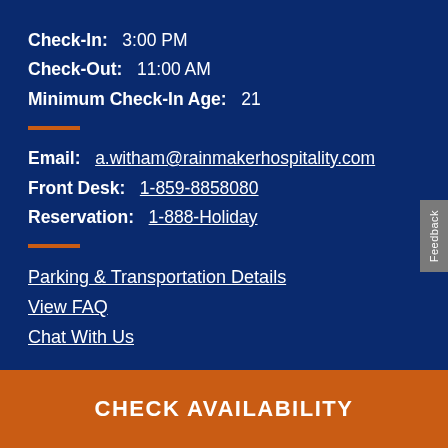Check-In:  3:00 PM
Check-Out:  11:00 AM
Minimum Check-In Age:  21
Email:  a.witham@rainmakerhospitality.com
Front Desk:  1-859-8858080
Reservation:  1-888-Holiday
Parking & Transportation Details
View FAQ
Chat With Us
CHECK AVAILABILITY